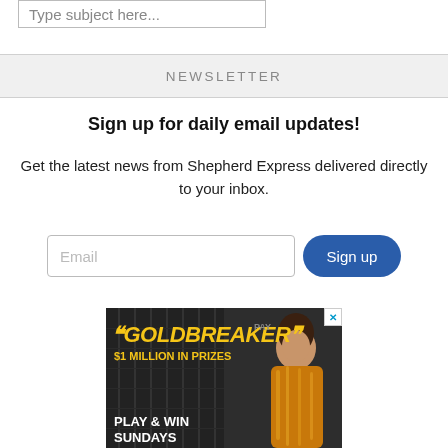Type subject here...
NEWSLETTER
Sign up for daily email updates!
Get the latest news from Shepherd Express delivered directly to your inbox.
Email
Sign up
[Figure (photo): Advertisement for Goldbreaker $1 Million in Prizes - Play & Win Sundays, featuring a woman in a gold outfit near slot machines]